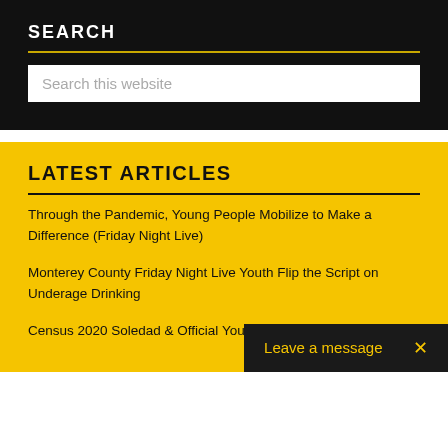SEARCH
Search this website
LATEST ARTICLES
Through the Pandemic, Young People Mobilize to Make a Difference (Friday Night Live)
Monterey County Friday Night Live Youth Flip the Script on Underage Drinking
Census 2020 Soledad & Official YouTube channel
Leave a message  ×